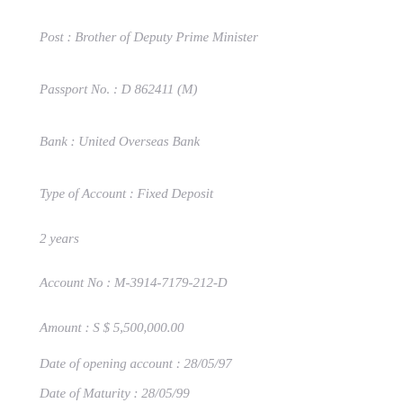Post : Brother of Deputy Prime Minister
Passport No. : D 862411 (M)
Bank : United Overseas Bank
Type of Account : Fixed Deposit
2 years
Account No : M-3914-7179-212-D
Amount : S $ 5,500,000.00
Date of opening account : 28/05/97
Date of Maturity : 28/05/99